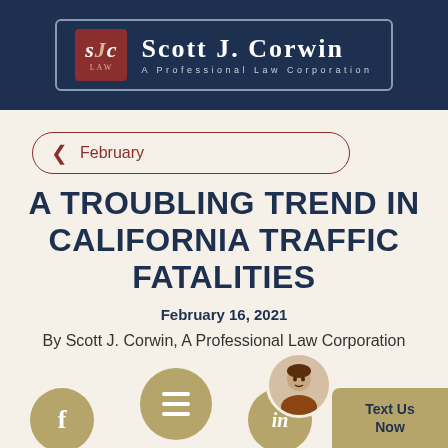Scott J. Corwin A Professional Law Corporation
February
A TROUBLING TREND IN CALIFORNIA TRAFFIC FATALITIES
February 16, 2021
By Scott J. Corwin, A Professional Law Corporation
[Figure (illustration): Social media icons (Facebook, menu/hamburger, LinkedIn) and lawyer avatar with Text Us Now button at bottom]